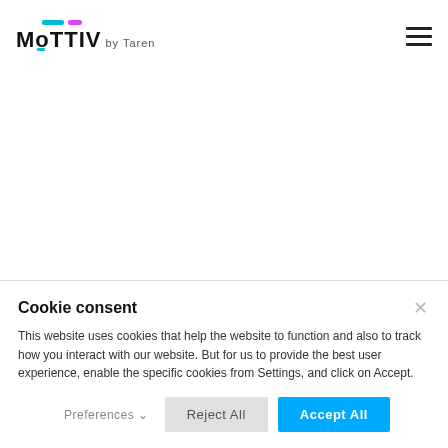MOTTIV by Taren
Cookie consent
This website uses cookies that help the website to function and also to track how you interact with our website. But for us to provide the best user experience, enable the specific cookies from Settings, and click on Accept.
Preferences
Reject All
Accept All